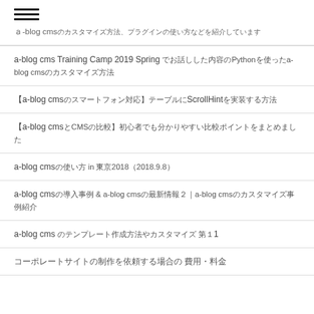[Figure (other): Hamburger menu icon (three horizontal lines)]
ａ-blog cmsのカスタマイズ方法、プラグインの使い方などを紹介しています
a-blog cms Training Camp 2019 Spring でお話しした内容のPythonを使ったa-blog cmsのカスタマイズ方法
【a-blog cmsのスマートフォン対応】テーブルにScrollHintを実装する方法
【a-blog cmsとCMSの比較】初心者でも分かりやすい比較ポイントをまとめました
a-blog cmsの使い方 in 東京2018（2018.9.8）
a-blog cmsの導入事例 & a-blog cmsの最新情報２｜a-blog cmsのカスタマイズ事例紹介
a-blog cms のテンプレート作成方法やカスタマイズ 第１1
コーポレートサイトの制作を依頼する場合の 費用・料金